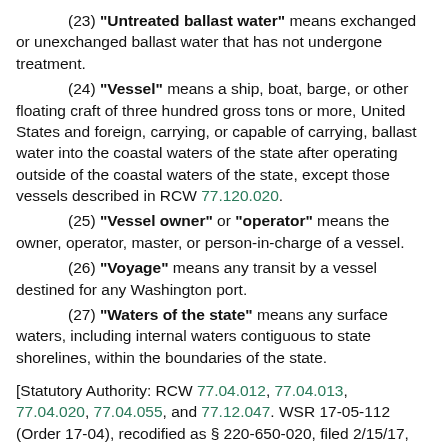(23) "Untreated ballast water" means exchanged or unexchanged ballast water that has not undergone treatment.
(24) "Vessel" means a ship, boat, barge, or other floating craft of three hundred gross tons or more, United States and foreign, carrying, or capable of carrying, ballast water into the coastal waters of the state after operating outside of the coastal waters of the state, except those vessels described in RCW 77.120.020.
(25) "Vessel owner" or "operator" means the owner, operator, master, or person-in-charge of a vessel.
(26) "Voyage" means any transit by a vessel destined for any Washington port.
(27) "Waters of the state" means any surface waters, including internal waters contiguous to state shorelines, within the boundaries of the state.
[Statutory Authority: RCW 77.04.012, 77.04.013, 77.04.020, 77.04.055, and 77.12.047. WSR 17-05-112 (Order 17-04), recodified as § 220-650-020, filed 2/15/17,